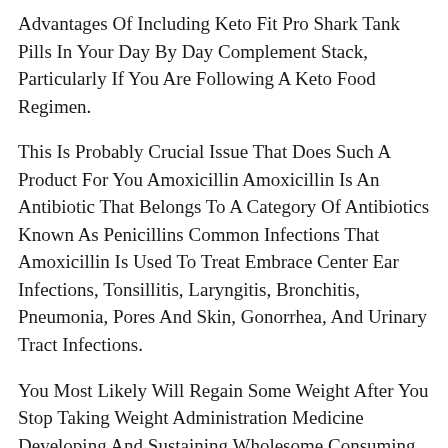Advantages Of Including Keto Fit Pro Shark Tank Pills In Your Day By Day Complement Stack, Particularly If You Are Following A Keto Food Regimen.
This Is Probably Crucial Issue That Does Such A Product For You Amoxicillin Amoxicillin Is An Antibiotic That Belongs To A Category Of Antibiotics Known As Penicillins Common Infections That Amoxicillin Is Used To Treat Embrace Center Ear Infections, Tonsillitis, Laryngitis, Bronchitis, Pneumonia, Pores And Skin, Gonorrhea, And Urinary Tract Infections.
You Most Likely Will Regain Some Weight After You Stop Taking Weight Administration Medicine Developing And Sustaining Wholesome Consuming Habits And Increasing Bodily Activity Might Allow You To Regain Less Weight Or Maintain It Off Only Take Weight Administration